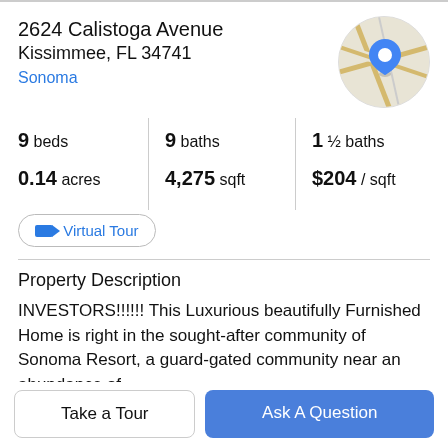2624 Calistoga Avenue
Kissimmee, FL 34741
Sonoma
[Figure (map): Circular map thumbnail with a blue location pin marker over a street map]
| 9 beds | 9 baths | 1 ½ baths |
| 0.14 acres | 4,275 sqft | $204 / sqft |
Virtual Tour
Property Description
INVESTORS!!!!!! This Luxurious beautifully Furnished Home is right in the sought-after community of Sonoma Resort, a guard-gated community near an abundance of
shopping, restaurants, and tourist destination. Live here
Take a Tour
Ask A Question